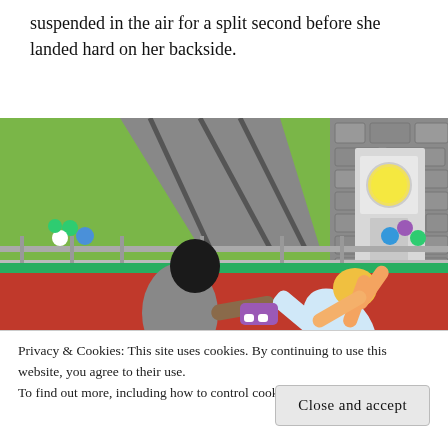suspended in the air for a split second before she landed hard on her backside.
[Figure (screenshot): Screenshot from The Sims video game showing two characters on a red roller skating rink. One character in gray appears to be skating and catching the other character, a blonde woman in white, who is falling backwards with arms raised. Green grass, stone wall, fence with balloons, and a white post with light fixture are visible in the background.]
Privacy & Cookies: This site uses cookies. By continuing to use this website, you agree to their use.
To find out more, including how to control cookies, see here: Cookie Policy
Close and accept